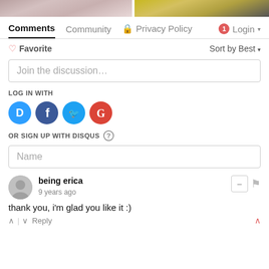[Figure (photo): Two cropped photos at top of page — left shows flowers/people, right shows a yellow and dark background with a person]
Comments   Community   🔒 Privacy Policy   1   Login
♡ Favorite   Sort by Best
Join the discussion…
LOG IN WITH
[Figure (logo): Social login icons: Disqus (blue), Facebook (dark blue), Twitter (light blue), Google (red)]
OR SIGN UP WITH DISQUS ?
Name
being erica
9 years ago
thank you, i'm glad you like it :)
↑ | ↓   Reply